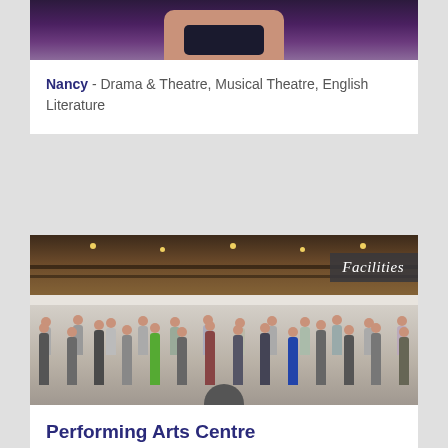[Figure (photo): Close-up photo of a person's hands/wrists with rings and bracelets, dark purple/fur background]
Nancy - Drama & Theatre, Musical Theatre, English Literature
[Figure (photo): Interior of a Performing Arts Centre showing a large hall with wooden ceiling, stage lighting rigs, and groups of students standing in a circle during a drama/theatre activity. A 'Facilities' label overlay appears in the top right corner.]
Performing Arts Centre